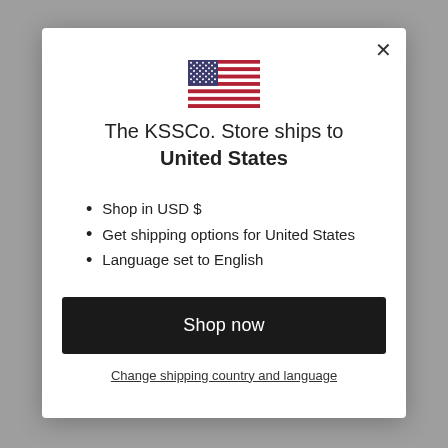[Figure (illustration): US flag emoji/icon centered at top of modal dialog]
The KSSCo. Store ships to United States
Shop in USD $
Get shipping options for United States
Language set to English
Shop now
Change shipping country and language